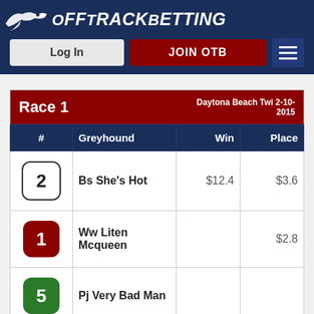OffTrackBetting
| # | Greyhound | Win | Place |
| --- | --- | --- | --- |
| 2 | Bs She's Hot | $12.4 | $3.6 |
| 1 | Ww Liten Mcqueen |  | $2.8 |
| 5 | Pj Very Bad Man |  |  |
| Bet Type | Runners | Pay Out |
| --- | --- | --- |